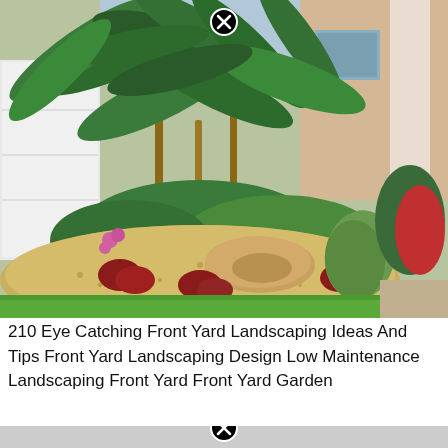[Figure (photo): A Florida front yard landscaping scene featuring tall palm trees with slender trunks, tropical plants including bromeliads with red and green leaves, agave plants, pink orchid-like flowers, green shrubs, a large sandstone boulder, and tan/gold pea gravel mulch in a curved landscaping bed. Green lawn grass borders the bed. A beige stucco house with white garage door and white columns is visible in the background. A black circle X (close button) icon is overlaid at the top center of the image.]
210 Eye Catching Front Yard Landscaping Ideas And Tips Front Yard Landscaping Design Low Maintenance Landscaping Front Yard Front Yard Garden